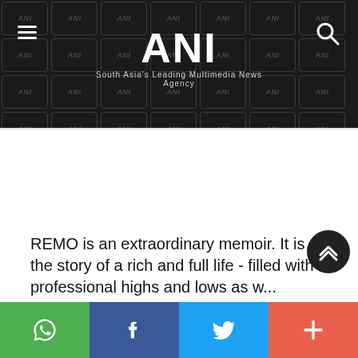ANI — South Asia's Leading Multimedia News Agency
REMO is an extraordinary memoir. It is the story of a rich and full life - filled with professional highs and lows as w...